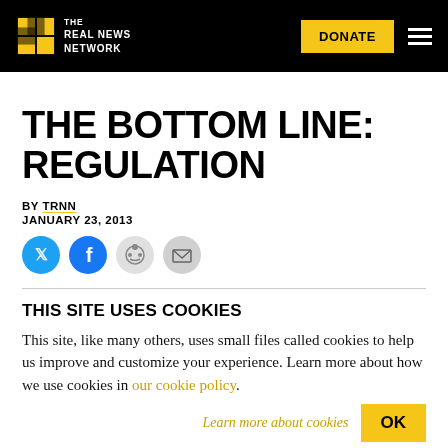THE REAL NEWS NETWORK | DONATE
THE BOTTOM LINE: REGULATION
BY TRNN
JANUARY 23, 2013
[Figure (infographic): Social sharing icons: Twitter, Facebook, Reddit, Email]
THIS SITE USES COOKIES
This site, like many others, uses small files called cookies to help us improve and customize your experience. Learn more about how we use cookies in our cookie policy.
Learn more about cookies   OK